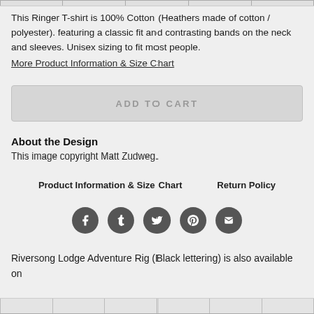This Ringer T-shirt is 100% Cotton (Heathers made of cotton / polyester). featuring a classic fit and contrasting bands on the neck and sleeves. Unisex sizing to fit most people.
More Product Information & Size Chart
ADD TO CART
About the Design
This image copyright Matt Zudweg.
Product Information & Size Chart
Return Policy
[Figure (infographic): Social media share icons: Facebook, Tumblr, Twitter, Pinterest, Email]
Riversong Lodge Adventure Rig (Black lettering) is also available on